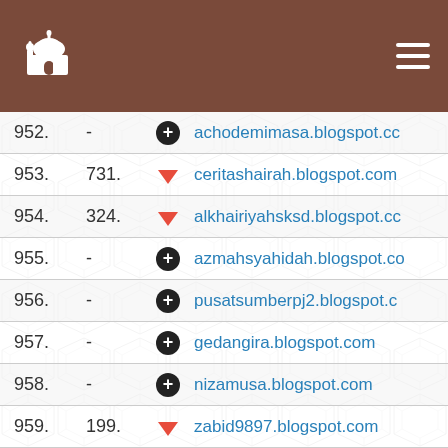[Figure (logo): Mosque logo icon in white on brown header bar]
| # | Rank | Change | URL |
| --- | --- | --- | --- |
| 952. | - | + | achodemimasa.blogspot.cc |
| 953. | 731. | ↓ | ceritashairah.blogspot.com |
| 954. | 324. | ↓ | alkhairiyahsksd.blogspot.cc |
| 955. | - | + | azmahsyahidah.blogspot.co |
| 956. | - | + | pusatsumberpj2.blogspot.c |
| 957. | - | + | gedangira.blogspot.com |
| 958. | - | + | nizamusa.blogspot.com |
| 959. | 199. | ↓ | zabid9897.blogspot.com |